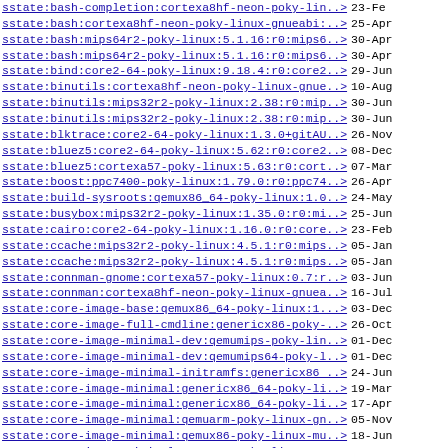sstate:bash-completion:cortexa8hf-neon-poky-lin..> 23-Fe
sstate:bash:cortexa8hf-neon-poky-linux-gnueabi:..> 25-Apr
sstate:bash:mips64r2-poky-linux:5.1.16:r0:mips6..> 30-Apr
sstate:bash:mips64r2-poky-linux:5.1.16:r0:mips6..> 30-Apr
sstate:bind:core2-64-poky-linux:9.18.4:r0:core2..> 29-Jun
sstate:binutils:cortexa8hf-neon-poky-linux-gnue..> 10-Aug
sstate:binutils:mips32r2-poky-linux:2.38:r0:mip..> 30-Jun
sstate:binutils:mips32r2-poky-linux:2.38:r0:mip..> 30-Jun
sstate:blktrace:core2-64-poky-linux:1.3.0+gitAU..> 26-Nov
sstate:bluez5:core2-64-poky-linux:5.62:r0:core2..> 08-Dec
sstate:bluez5:cortexa57-poky-linux:5.63:r0:cort..> 07-Mar
sstate:boost:ppc7400-poky-linux:1.79.0:r0:ppc74..> 26-Apr
sstate:build-sysroots:qemux86_64-poky-linux:1.0..> 24-May
sstate:busybox:mips32r2-poky-linux:1.35.0:r0:mi..> 25-Jun
sstate:cairo:core2-64-poky-linux:1.16.0:r0:core..> 23-Feb
sstate:ccache:mips32r2-poky-linux:4.5.1:r0:mips..> 05-Jan
sstate:ccache:mips32r2-poky-linux:4.5.1:r0:mips..> 05-Jan
sstate:connman-gnome:cortexa57-poky-linux:0.7:r..> 03-Jun
sstate:connman:cortexa8hf-neon-poky-linux-gnuea..> 16-Jul
sstate:core-image-base:qemux86_64-poky-linux:1...> 03-Dec
sstate:core-image-full-cmdline:genericx86-poky-..> 26-Oct
sstate:core-image-minimal-dev:qemumips-poky-lin..> 01-Dec
sstate:core-image-minimal-dev:qemumips64-poky-l..> 01-Dec
sstate:core-image-minimal-initramfs:genericx86 ..> 24-Jun
sstate:core-image-minimal:genericx86_64-poky-li..> 19-Mar
sstate:core-image-minimal:genericx86_64-poky-li..> 17-Apr
sstate:core-image-minimal:qemuarm-poky-linux-gn..> 05-Nov
sstate:core-image-minimal:qemux86-poky-linux-mu..> 18-Jun
sstate:core-image-minimal:qemux86-poky-linux:1...> 03-Aug
sstate:core-image-minimal:qemux86_64-poky-linux..> 25-Jun
sstate:core-image-minimal:qemux86_64-poky-linux..> 01-